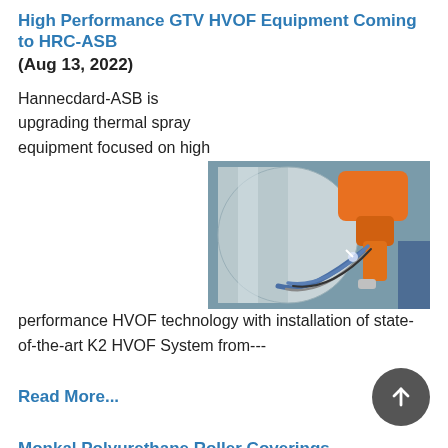High Performance GTV HVOF Equipment Coming to HRC-ASB
(Aug 13, 2022)
Hannecdard-ASB is upgrading thermal spray equipment focused on high performance HVOF technology with installation of state-of-the-art K2 HVOF System from---
[Figure (photo): Industrial robotic thermal spray equipment showing an orange robotic arm applying spray to a large cylindrical component, with blue hoses and cables visible.]
Read More...
Monkal Polyurethane Roller Coverings